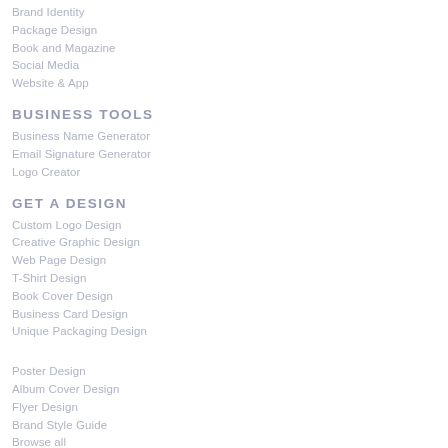Brand Identity
Package Design
Book and Magazine
Social Media
Website & App
BUSINESS TOOLS
Business Name Generator
Email Signature Generator
Logo Creator
GET A DESIGN
Custom Logo Design
Creative Graphic Design
Web Page Design
T-Shirt Design
Book Cover Design
Business Card Design
Unique Packaging Design
Poster Design
Album Cover Design
Flyer Design
Brand Style Guide
Browse all
HIRE A DESIGNER